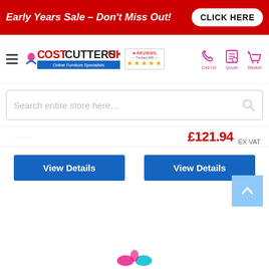[Figure (screenshot): Red promotional banner with text 'Early Years Sale – Don't Miss Out!' and a white 'CLICK HERE' button]
[Figure (logo): CostCuttersUK logo with tagline 'Online Furniture Specialists', Reviews.co.uk badge with 5 stars, hamburger menu, Call Us / Quote / Basket icons]
Search entire store here...
£121.94 EX VAT
View Details
View Details
[Figure (logo): Partial CostCuttersUK logo at bottom of page]